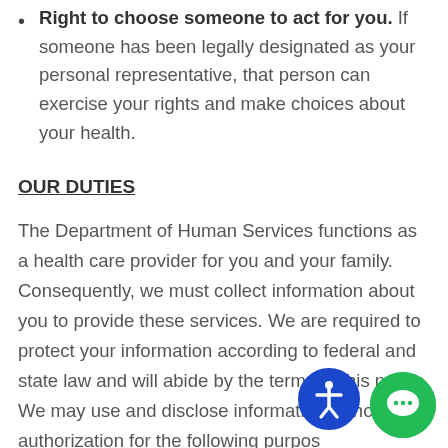Right to choose someone to act for you. If someone has been legally designated as your personal representative, that person can exercise your rights and make choices about your health.
OUR DUTIES
The Department of Human Services functions as a health care provider for you and your family. Consequently, we must collect information about you to provide these services. We are required to protect your information according to federal and state law and will abide by the terms of this notice. We may use and disclose information without your authorization for the following purposes:
Treatment Purposes. We may use or disclose your